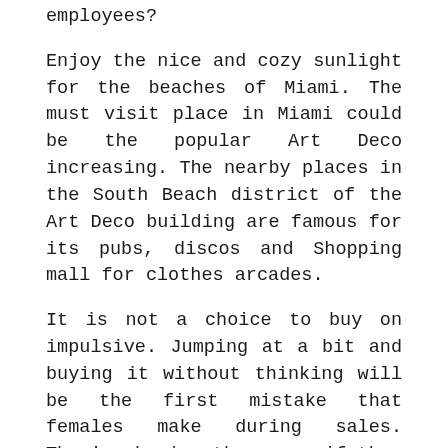employees?
Enjoy the nice and cozy sunlight for the beaches of Miami. The must visit place in Miami could be the popular Art Deco increasing. The nearby places in the South Beach district of the Art Deco building are famous for its pubs, discos and Shopping mall for clothes arcades.
It is not a choice to buy on impulsive. Jumping at a bit and buying it without thinking will be the first mistake that females make during sales. They're buying them even if they know they can not ever all of them. The lure of inexpensive items often makes them spend unnecessarily.
You sure have friends who have gifts from Christmas possess been not been used. You are gather your mates and exchange apparel together. You probably like your friends' preference and thus do with yours. Can certainly be certain that related quality is retained even though the clothes are yet to been used yet.